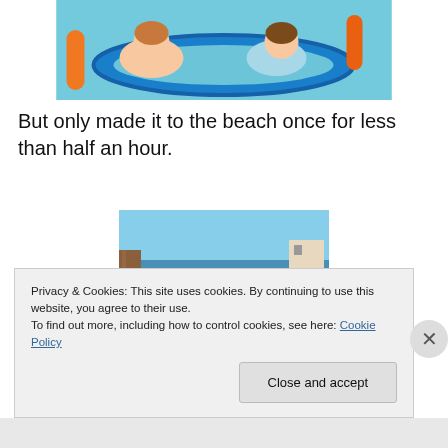[Figure (photo): Two young children floating in a pool on a blue foam noodle/floaty ring, water visible in background]
But only made it to the beach once for less than half an hour.
[Figure (photo): Child peeking around a wooden fence/post on a sandy beach with ocean waves in background]
Privacy & Cookies: This site uses cookies. By continuing to use this website, you agree to their use.
To find out more, including how to control cookies, see here: Cookie Policy
Close and accept